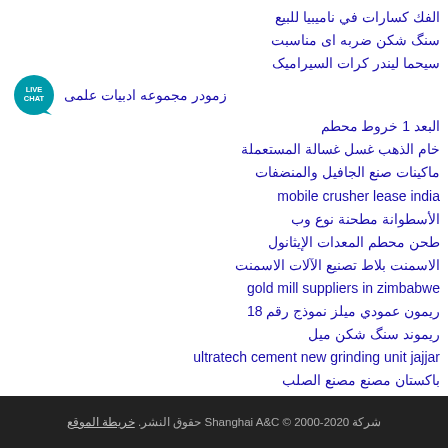الفك كسارات في ناميبيا للبيع
سنگ شکن ضربه ای مناسبت
سیحما لیندر کرات السیرامیک
زمودر مجموعه ادبیات علمی [LIVE CHAT]
البعد 1 خروط محطم
خام الذهب غسل غسالة المستعملة
ماكينات صنع الجافيل والمنضفات
mobile crusher lease india
الأسطوانة مطحنة نوع وب
طحن محطم المعدات الإيثانول
الاسمنت بلاط تصنيع الآلات الاسمنت
gold mill suppliers in zimbabwe
ريمون عمودي ميلز نموذج رقم 18
ريموند سنگ شکن میل
ultratech cement new grinding unit jajjar
باكستان مصنع مصنع الصلب
سنگ آهک سیمان خرد کردن
أريد مصنع للاسمنت في باكستان
شركة Shanghai A&C © 2000-2020 حقوق النشر. خريطة الموقع